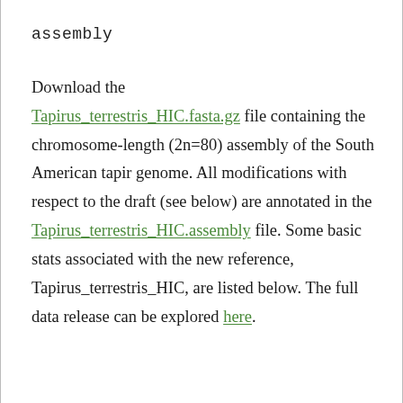assembly
Download the Tapirus_terrestris_HIC.fasta.gz file containing the chromosome-length (2n=80) assembly of the South American tapir genome. All modifications with respect to the draft (see below) are annotated in the Tapirus_terrestris_HIC.assembly file. Some basic stats associated with the new reference, Tapirus_terrestris_HIC, are listed below. The full data release can be explored here.